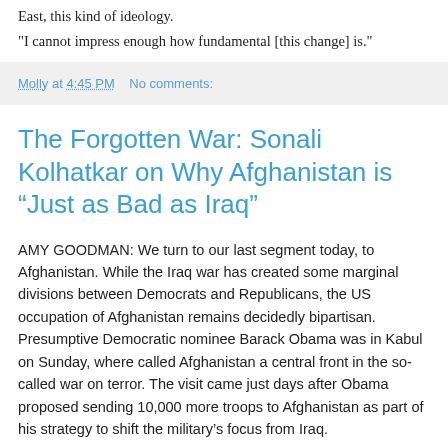East, this kind of ideology.
"I cannot impress enough how fundamental [this change] is."
Molly at 4:45 PM   No comments:
The Forgotten War: Sonali Kolhatkar on Why Afghanistan is “Just as Bad as Iraq”
AMY GOODMAN: We turn to our last segment today, to Afghanistan. While the Iraq war has created some marginal divisions between Democrats and Republicans, the US occupation of Afghanistan remains decidedly bipartisan. Presumptive Democratic nominee Barack Obama was in Kabul on Sunday, where called Afghanistan a central front in the so-called war on terror. The visit came just days after Obama proposed sending 10,000 more troops to Afghanistan as part of his strategy to shift the military’s focus from Iraq.